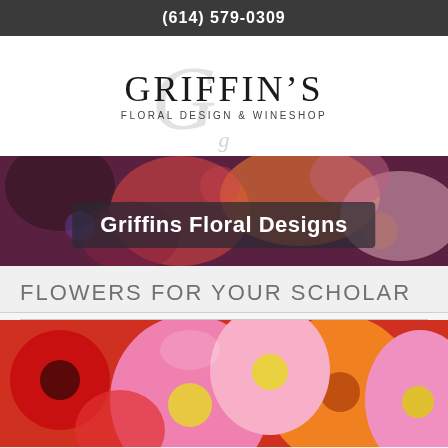(614) 579-0309
[Figure (logo): Griffin's Floral Design & Wineshop logo with decorative script G and serif text]
[Figure (photo): Colorful floral arrangement banner photo with dark overlay containing text 'Griffins Floral Designs']
FLOWERS FOR YOUR SCHOLAR
[Figure (photo): Close-up photo of pink, red, and orange gerbera daisies with script text overlay at bottom]